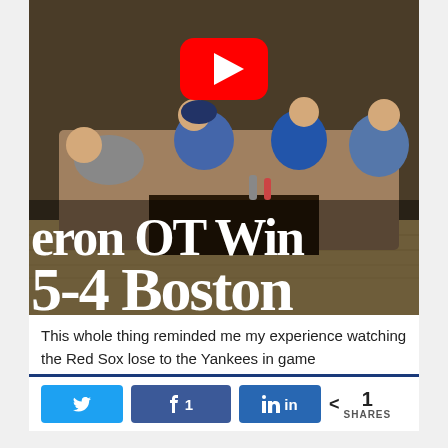[Figure (screenshot): YouTube video thumbnail showing a group of people in hockey jerseys sitting on a couch watching TV. The thumbnail has a YouTube play button overlay. Text overlay reads 'eron OT Win' on the first line and '5-4 Boston' on the second line in large white bold serif font.]
This whole thing reminded me my experience watching the Red Sox lose to the Yankees in game
Twitter share button, Facebook share button with count 1, LinkedIn share button, < 1 SHARES